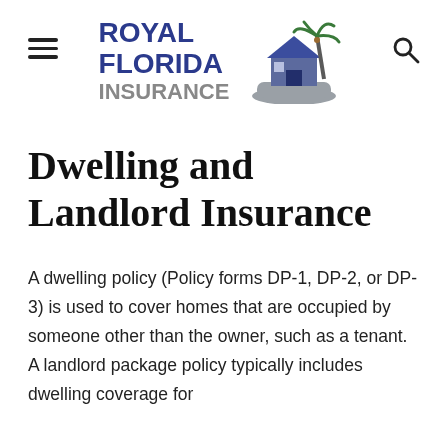[Figure (logo): Royal Florida Insurance logo with palm tree and house graphic, blue and grey colors]
Dwelling and Landlord Insurance
A dwelling policy (Policy forms DP-1, DP-2, or DP-3) is used to cover homes that are occupied by someone other than the owner, such as a tenant. A landlord package policy typically includes dwelling coverage for